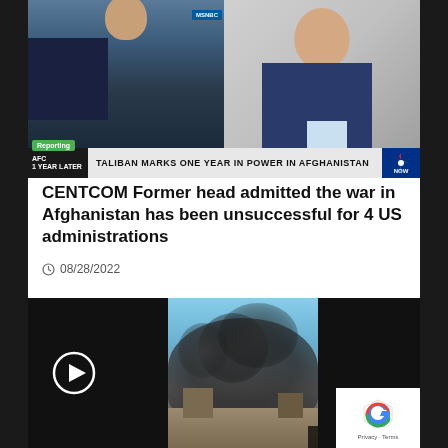[Figure (screenshot): MSNBC TV broadcast split screen showing two people: a news anchor on the left with US Capitol building in background, and an interviewee on the right. Ticker bar reads 'TALIBAN MARKS ONE YEAR IN POWER IN AFGHANISTAN' with 'Reporting' green label, 'AFC / 1 YEAR LATER' on left, and NBC logo on right.]
CENTCOM Former head admitted the war in Afghanistan has been unsuccessful for 4 US administrations
08/28/2022
[Figure (screenshot): Video player with play button on dark background, showing smoke rising from a building in Afghanistan. Privacy & Cookies Policy overlay text visible. reCAPTCHA Privacy - Terms box in bottom right corner.]